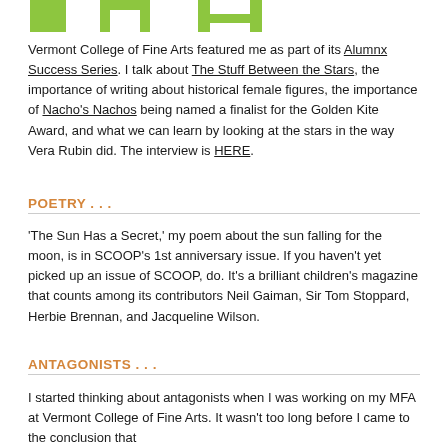[Figure (logo): Green block letters logo at top of page]
Vermont College of Fine Arts featured me as part of its Alumnx Success Series. I talk about The Stuff Between the Stars, the importance of writing about historical female figures, the importance of Nacho's Nachos being named a finalist for the Golden Kite Award, and what we can learn by looking at the stars in the way Vera Rubin did. The interview is HERE.
POETRY . . .
'The Sun Has a Secret,' my poem about the sun falling for the moon, is in SCOOP's 1st anniversary issue. If you haven't yet picked up an issue of SCOOP, do. It's a brilliant children's magazine that counts among its contributors Neil Gaiman, Sir Tom Stoppard, Herbie Brennan, and Jacqueline Wilson.
ANTAGONISTS . . .
I started thinking about antagonists when I was working on my MFA at Vermont College of Fine Arts. It wasn't too long before I came to the conclusion that